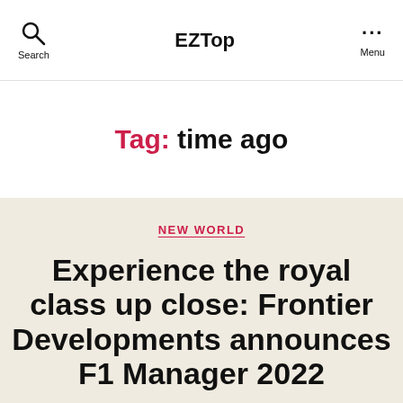EZTop
Tag: time ago
NEW WORLD
Experience the royal class up close: Frontier Developments announces F1 Manager 2022